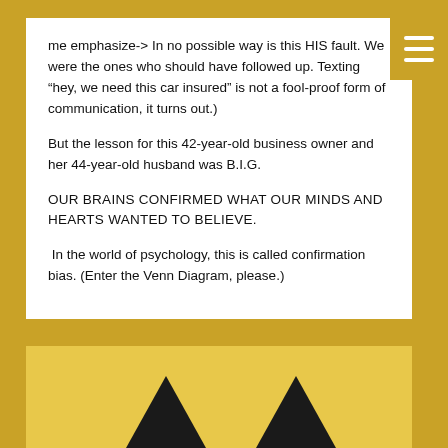me emphasize-> In no possible way is this HIS fault. We were the ones who should have followed up. Texting "hey, we need this car insured" is not a fool-proof form of communication, it turns out.)
But the lesson for this 42-year-old business owner and her 44-year-old husband was B.I.G.
OUR BRAINS CONFIRMED WHAT OUR MINDS AND HEARTS WANTED TO BELIEVE.
In the world of psychology, this is called confirmation bias. (Enter the Venn Diagram, please.)
[Figure (illustration): Yellow background area at the bottom of the page with two large dark upward-pointing arrows visible at the bottom edge]